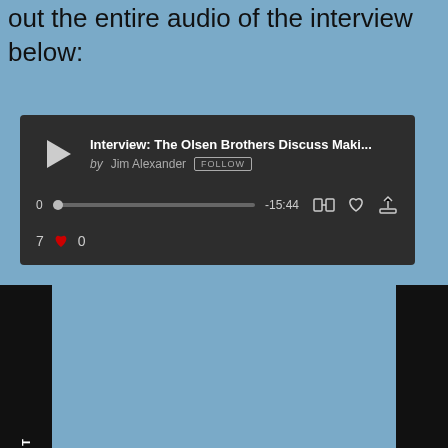out the entire audio of the interview below:
[Figure (screenshot): Audio player widget showing 'Interview: The Olsen Brothers Discuss Maki...' by Jim Alexander with a FOLLOW button, progress bar showing -15:44, and 0 likes.]
AKE:
What struck me about these guys is how hands-on they are with their projects. They mentioned
Advertisements
[Figure (other): DuckDuckGo advertisement banner reading 'Search, browse, and email with more privacy. All in One Free App']